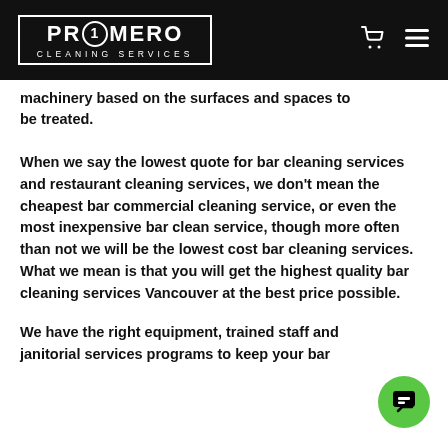PR1MERO CLEANING SERVICES
machinery based on the surfaces and spaces to be treated.
When we say the lowest quote for bar cleaning services and restaurant cleaning services, we don't mean the cheapest bar commercial cleaning service, or even the most inexpensive bar clean service, though more often than not we will be the lowest cost bar cleaning services. What we mean is that you will get the highest quality bar cleaning services Vancouver at the best price possible.
We have the right equipment, trained staff and janitorial services programs to keep your bar